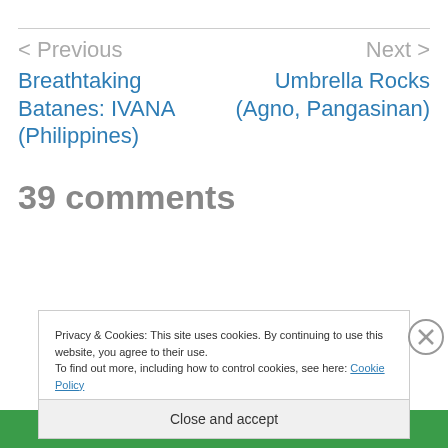< Previous
Next >
Breathtaking Batanes: IVANA (Philippines)
Umbrella Rocks (Agno, Pangasinan)
39 comments
Privacy & Cookies: This site uses cookies. By continuing to use this website, you agree to their use. To find out more, including how to control cookies, see here: Cookie Policy
Close and accept